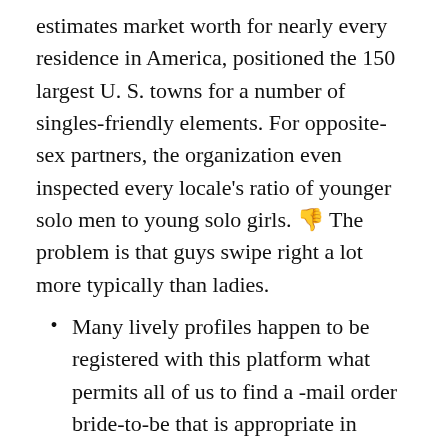estimates market worth for nearly every residence in America, positioned the 150 largest U. S. towns for a number of singles-friendly elements. For opposite-sex partners, the organization even inspected every locale's ratio of younger solo men to young solo girls. 👎 The problem is that guys swipe right a lot more typically than ladies.
Many lively profiles happen to be registered with this platform what permits all of us to find a -mail order bride-to-be that is appropriate in appearance and interests.
If someone is hanging out in all your most desired locations, it really is protected to express you have similar vibe and can probably be a fantastic match for every other.
Though there's but no final recipe for the purpose of happiness that actually works for everyone, there are plenty of tips which have